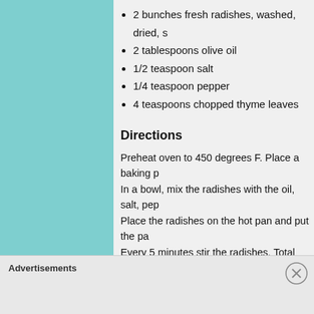2 bunches fresh radishes, washed, dried, s…
2 tablespoons olive oil
1/2 teaspoon salt
1/4 teaspoon pepper
4 teaspoons chopped thyme leaves
Directions
Preheat oven to 450 degrees F. Place a baking p… In a bowl, mix the radishes with the oil, salt, pep… Place the radishes on the hot pan and put the pa… Every 5 minutes stir the radishes. Total cooking… minutes, depending on the size of the radishes. When ready, they'll be blistered and pink with ju… the texture. Serve as a side dish with a drizzle of fresh olive…
Advertisements